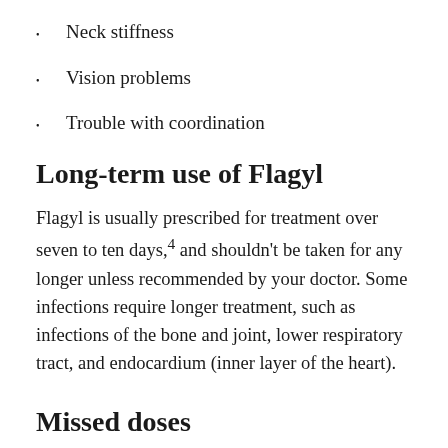Neck stiffness
Vision problems
Trouble with coordination
Long-term use of Flagyl
Flagyl is usually prescribed for treatment over seven to ten days,4 and shouldn't be taken for any longer unless recommended by your doctor. Some infections require longer treatment, such as infections of the bone and joint, lower respiratory tract, and endocardium (inner layer of the heart).
Missed doses